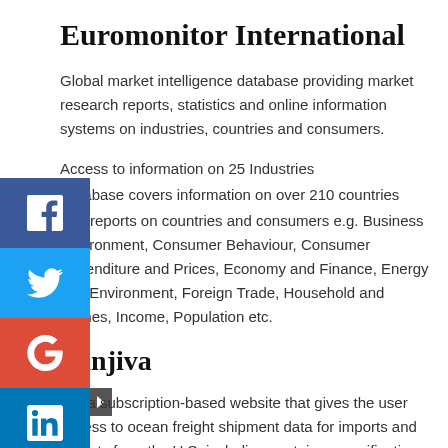Euromonitor International
Global market intelligence database providing market research reports, statistics and online information systems on industries, countries and consumers.
Access to information on 25 Industries
Database covers information on over 210 countries
Key reports on countries and consumers e.g. Business Environment, Consumer Behaviour, Consumer Expenditure and Prices, Economy and Finance, Energy and Environment, Foreign Trade, Household and Homes, Income, Population etc.
Panjiva
It is a subscription-based website that gives the user access to ocean freight shipment data for imports and exports from the U.S. including container specifications, TEUs, weight in...